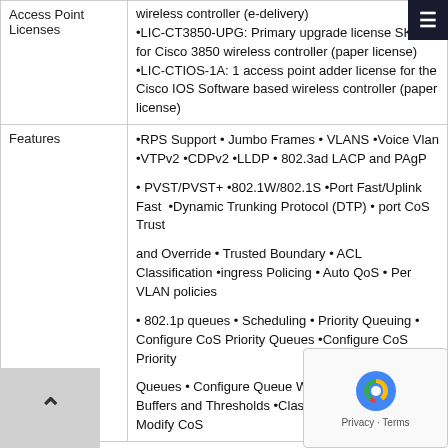|  |  |
| --- | --- |
| Access Point Licenses | wireless controller (e-delivery)
•LIC-CT3850-UPG: Primary upgrade license SKU for Cisco 3850 wireless controller (paper license)
•LIC-CTIOS-1A: 1 access point adder license for the Cisco IOS Software based wireless controller (paper license) |
| Features | •RPS Support • Jumbo Frames • VLANS •Voice Vlan •VTPv2 •CDPv2 •LLDP • 802.3ad LACP and PAgP

• PVST/PVST+ •802.1W/802.1S •Port Fast/Uplink Fast  •Dynamic Trunking Protocol (DTP) • port CoS Trust

and Override • Trusted Boundary • ACL Classification •ingress Policing • Auto QoS • Per VLAN policies

• 802.1p queues • Scheduling • Priority Queuing • Configure CoS Priority Queues •Configure CoS Priority

Queues • Configure Queue Weights • Configure Buffers and Thresholds •Class & Policy Maps • Modify CoS |